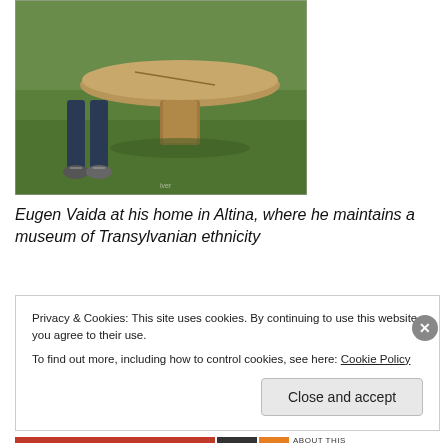[Figure (photo): Outdoor photograph of a person standing next to a large round flat stone table on grass. The table has a wide circular stone top supported by a single stone pedestal. The person is wearing dark jeans and sneakers. Green lawn visible in background.]
Eugen Vaida at his home in Altina, where he maintains a museum of Transylvanian ethnicity
Privacy & Cookies: This site uses cookies. By continuing to use this website, you agree to their use.
To find out more, including how to control cookies, see here: Cookie Policy